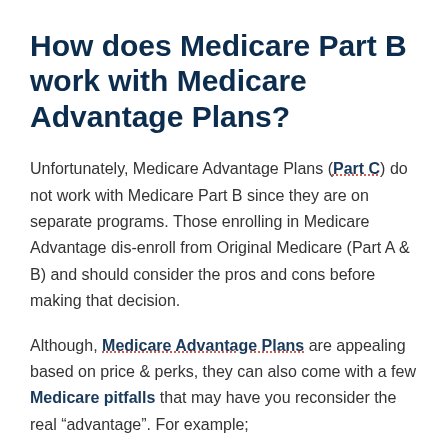How does Medicare Part B work with Medicare Advantage Plans?
Unfortunately, Medicare Advantage Plans (Part C) do not work with Medicare Part B since they are on separate programs. Those enrolling in Medicare Advantage dis-enroll from Original Medicare (Part A & B) and should consider the pros and cons before making that decision.
Although, Medicare Advantage Plans are appealing based on price & perks, they can also come with a few Medicare pitfalls that may have you reconsider the real “advantage”. For example;